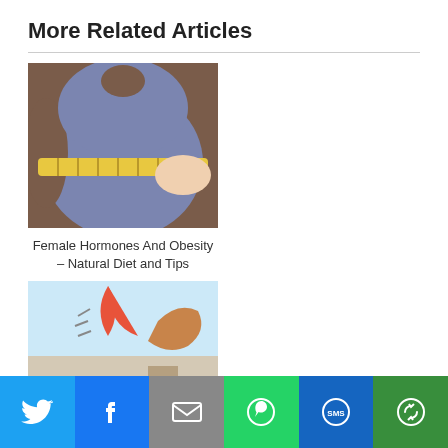More Related Articles
[Figure (photo): Obese woman being measured around the waist with a yellow tape measure]
Female Hormones And Obesity – Natural Diet and Tips
[Figure (photo): Man kneeling on ground beside a person who has fallen, with another person standing nearby – epilepsy care scene]
Home Care Tips for Epilepsy – Natural Care and Yoga…
[Figure (photo): Illustration with red awareness ribbon and a hand – partial view]
[Figure (photo): Bowls of colorful fresh fruits including strawberries, kiwi, raspberries – partial view]